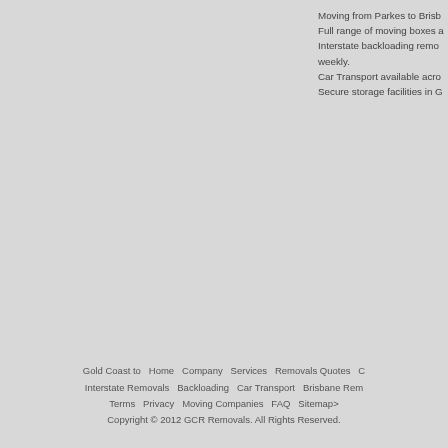Moving from Parkes to Brisb... Full range of moving boxes a... Interstate backloading remo... weekly. Car Transport available acro... Secure storage facilities in G...
Gold Coast to  Home  Company  Services  Removals Quotes  C... Interstate Removals  Backloading  Car Transport  Brisbane Rem... Terms  Privacy  Moving Companies  FAQ  Sitemap> Copyright © 2012 GCR Removals. All Rights Reserved.